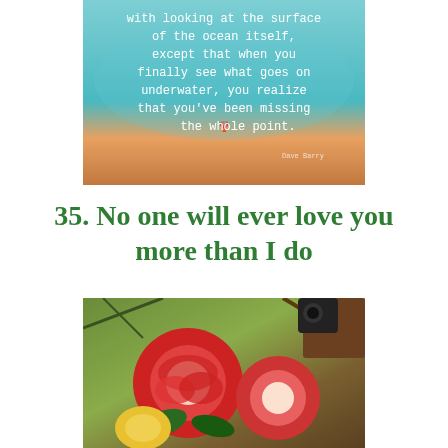[Figure (photo): A photo of a decorative item (possibly a bag or container) with ocean/beach imagery in teal and orange colors, with white handwritten-style text reading: 'with looking at the surface of the ocean itself, except that when you finally see what goes on underwater, you realize that you've been missing the whole point.']
35. No one will ever love you more than I do
[Figure (photo): A photograph of colorful roses (red, white, and yellow) against a background of trees and what appears to be a wooden structure or roof.]